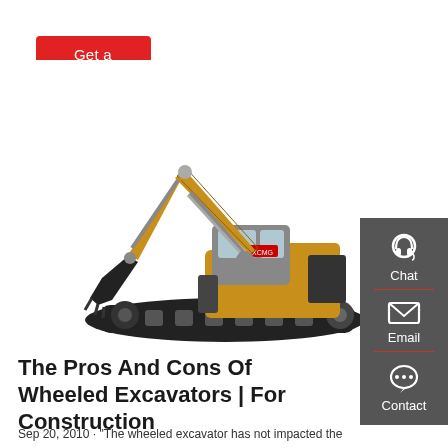Get a quote
[Figure (photo): Yellow tracked excavator (XCMG brand) with boom and bucket extended, on white background]
The Pros And Cons Of Wheeled Excavators | For Construction
Sep 20, 2010 · "The wheeled excavator has not impacted the